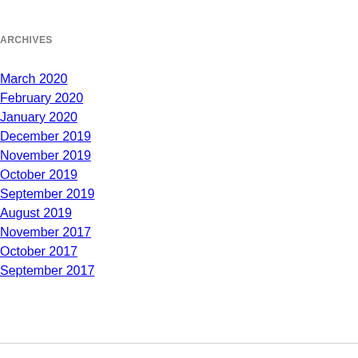ARCHIVES
March 2020
February 2020
January 2020
December 2019
November 2019
October 2019
September 2019
August 2019
November 2017
October 2017
September 2017